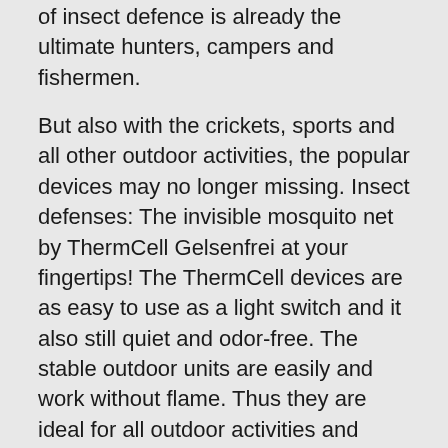of insect defence is already the ultimate hunters, campers and fishermen.
But also with the crickets, sports and all other outdoor activities, the popular devices may no longer missing. Insect defenses: The invisible mosquito net by ThermCell Gelsenfrei at your fingertips! The ThermCell devices are as easy to use as a light switch and it also still quiet and odor-free. The stable outdoor units are easily and work without flame. Thus they are ideal for all outdoor activities and provide you around 20 m2 large insect-free zone, in which you can pursue your hobbies without being disturbed. This is how BBs works! The Gelsenabwehrgerate are powered by propane. You are therefore cordless and battery-free.Just put a Gelsenabwehrplattchen in the device and turn it.
Now put to the device and then...